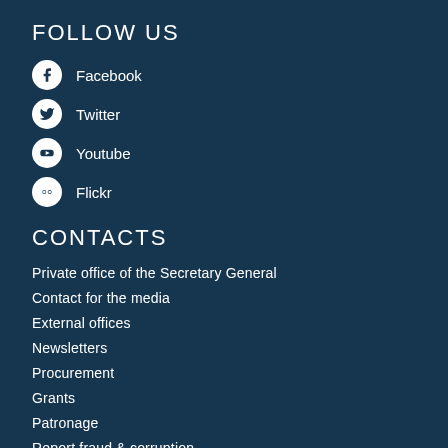FOLLOW US
Facebook
Twitter
Youtube
Flickr
CONTACTS
Private office of the Secretary General
Contact for the media
External offices
Newsletters
Procurement
Grants
Patronage
Report fraud & corruption